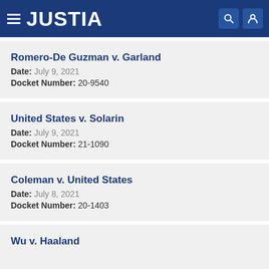JUSTIA
Romero-De Guzman v. Garland
Date: July 9, 2021
Docket Number: 20-9540
United States v. Solarin
Date: July 9, 2021
Docket Number: 21-1090
Coleman v. United States
Date: July 8, 2021
Docket Number: 20-1403
Wu v. Haaland